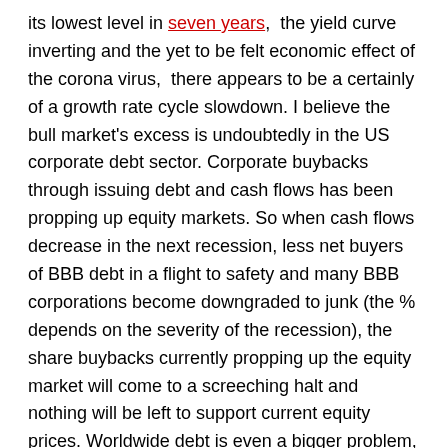its lowest level in seven years,  the yield curve inverting and the yet to be felt economic effect of the corona virus,  there appears to be a certainly of a growth rate cycle slowdown. I believe the bull market's excess is undoubtedly in the US corporate debt sector. Corporate buybacks through issuing debt and cash flows has been propping up equity markets. So when cash flows decrease in the next recession, less net buyers of BBB debt in a flight to safety and many BBB corporations become downgraded to junk (the % depends on the severity of the recession), the share buybacks currently propping up the equity market will come to a screeching halt and nothing will be left to support current equity prices. Worldwide debt is even a bigger problem, (See comments on Russia above), as China has flooded the debt market with worthless loans to unsuccessful national corporations and Europe and Japan appear to be facing an economic slowdown because of the corona virus. Merkel says,